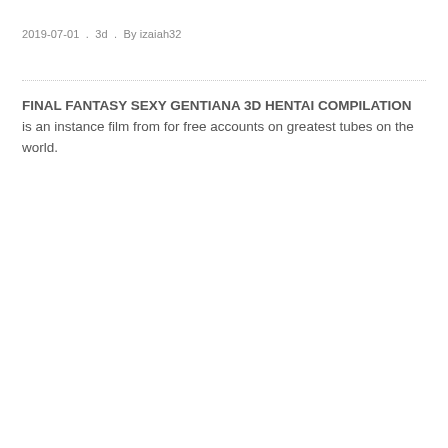2019-07-01 . 3d . By izaiah32
FINAL FANTASY SEXY GENTIANA 3D HENTAI COMPILATION is an instance film from for free accounts on greatest tubes on the world.